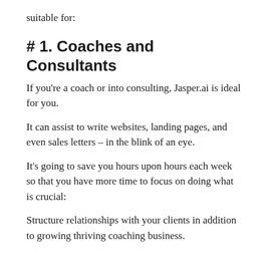suitable for:
# 1. Coaches and Consultants
If you're a coach or into consulting, Jasper.ai is ideal for you.
It can assist to write websites, landing pages, and even sales letters – in the blink of an eye.
It's going to save you hours upon hours each week so that you have more time to focus on doing what is crucial:
Structure relationships with your clients in addition to growing thriving coaching business.